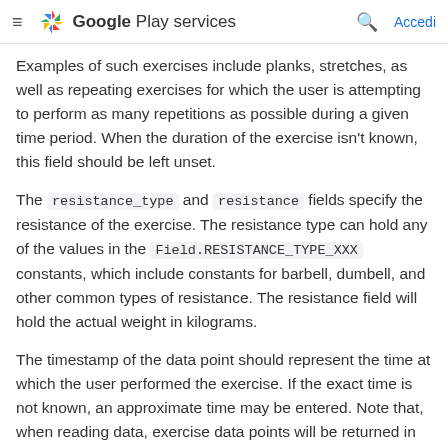Google Play services
Examples of such exercises include planks, stretches, as well as repeating exercises for which the user is attempting to perform as many repetitions as possible during a given time period. When the duration of the exercise isn't known, this field should be left unset.
The resistance_type and resistance fields specify the resistance of the exercise. The resistance type can hold any of the values in the Field.RESISTANCE_TYPE_XXX constants, which include constants for barbell, dumbell, and other common types of resistance. The resistance field will hold the actual weight in kilograms.
The timestamp of the data point should represent the time at which the user performed the exercise. If the exact time is not known, an approximate time may be entered. Note that, when reading data, exercise data points will be returned in timestamp order, so if the order of the exercises